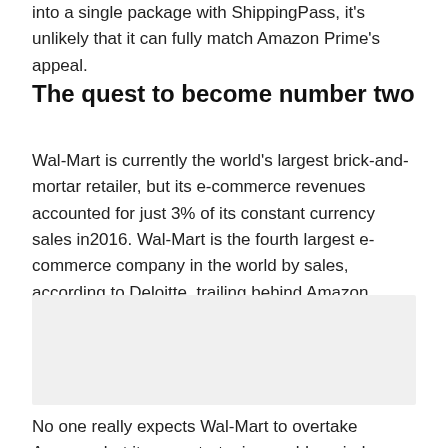into a single package with ShippingPass, it's unlikely that it can fully match Amazon Prime's appeal.
The quest to become number two
Wal-Mart is currently the world's largest brick-and-mortar retailer, but its e-commerce revenues accounted for just 3% of its constant currency sales in2016. Wal-Mart is the fourth largest e-commerce company in the world by sales, according to Deloitte, trailing behind Amazon, Apple, and Chinese e-commerce giant JD.com – in that order.
[Figure (other): Gray placeholder image block]
No one really expects Wal-Mart to overtake Amazon, but its new strategies could remind customers that Amazon isn't